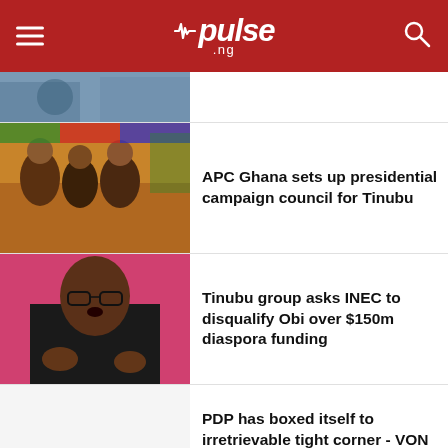pulse.ng
[Figure (photo): Partial photo visible at top, clipped]
APC Ghana sets up presidential campaign council for Tinubu
[Figure (photo): Photo of Peter Obi speaking, gesturing with hands, against a red/pink background]
Tinubu group asks INEC to disqualify Obi over $150m diaspora funding
PDP has boxed itself to irretrievable tight corner - VON DG
[Figure (photo): Partial photo at bottom, clipped]
My team has foresight to